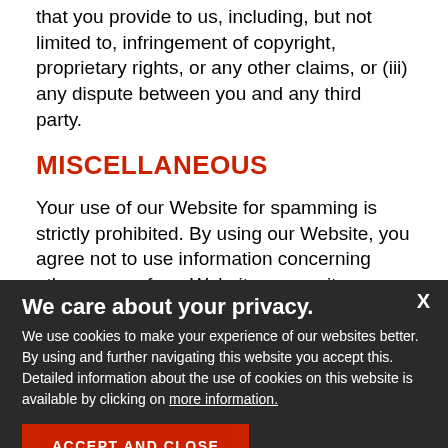that you provide to us, including, but not limited to, infringement of copyright, proprietary rights, or any other claims, or (iii) any dispute between you and any third party.
MISCELLANEOUS
Your use of our Website for spamming is strictly prohibited. By using our Website, you agree not to use information concerning other users of our Website, or any items such users have listed or searched for on our Website (including listing information, user names, e-mail addresses, and/or other personal information), for purposes of sending unsolicited commercial email (spam), or for any other purpose.
We care about your privacy.
We use cookies to make your experience of our websites better. By using and further navigating this website you accept this. Detailed information about the use of cookies on this website is available by clicking on more information.
ACCEPT AND CLOSE
itions are governed by the laws o...consent to the exclusive jurisdiction and venue of state and federal courts loc... disputes arising out of or
English